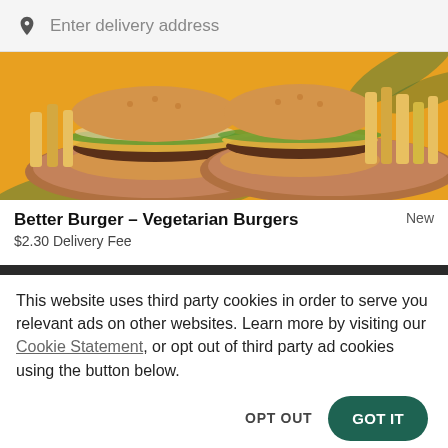Enter delivery address
[Figure (photo): Two vegetarian burgers with fries on wooden plates against a yellow background with tropical leaves]
Better Burger – Vegetarian Burgers
New
$2.30 Delivery Fee
This website uses third party cookies in order to serve you relevant ads on other websites. Learn more by visiting our Cookie Statement, or opt out of third party ad cookies using the button below.
OPT OUT
GOT IT